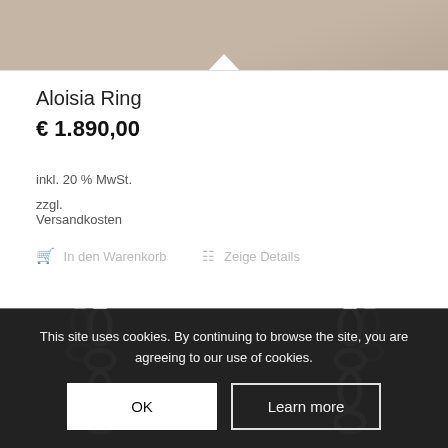[Figure (photo): Top portion of a ring product photo on beige/tan background, with white triangular notch at bottom center]
Aloisia Ring
€ 1.890,00
inkl. 20 % MwSt.
zzgl.
Versandkosten
🛒 In den Warenkorb   📋 Zeige Details
[Figure (photo): Close-up photo of silver jewelry chains on dark background]
This site uses cookies. By continuing to browse the site, you are agreeing to our use of cookies.
OK    Learn more